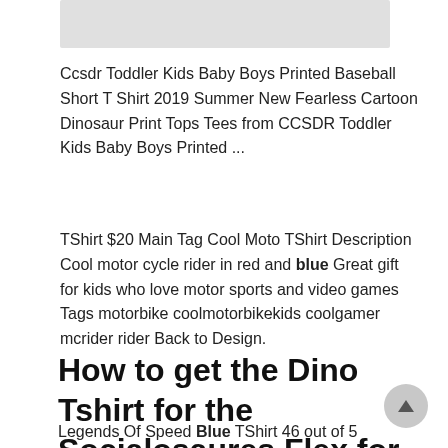[Figure (other): Gray rectangular bar at top of page, partially visible]
Ccsdr Toddler Kids Baby Boys Printed Baseball Short T Shirt 2019 Summer New Fearless Cartoon Dinosaur Print Tops Tees from CCSDR Toddler Kids Baby Boys Printed ...
TShirt $20 Main Tag Cool Moto TShirt Description Cool motor cycle rider in red and blue Great gift for kids who love motor sports and video games Tags motorbike coolmotorbikekids coolgamer mcrider rider Back to Design.
How to get the Dino Tshirt for the Socialosaures Flex for
Legends Of Speed Blue TShirt 46 out of 5 stars 25